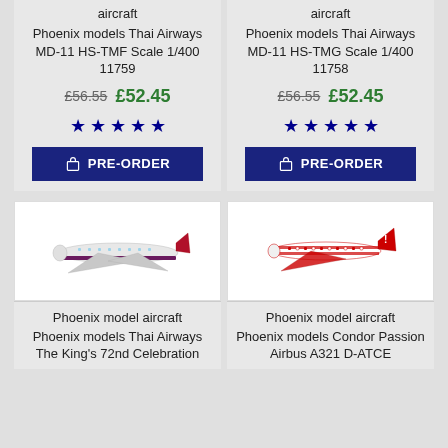aircraft
Phoenix models Thai Airways MD-11 HS-TMF Scale 1/400 11759
£56.55  £52.45
[Figure (other): Five blue star rating icons]
PRE-ORDER
aircraft
Phoenix models Thai Airways MD-11 HS-TMG Scale 1/400 11758
£56.55  £52.45
[Figure (other): Five blue star rating icons]
PRE-ORDER
[Figure (photo): Photo of Phoenix model Thai Airways aircraft, white and purple livery]
[Figure (photo): Photo of Phoenix model aircraft with red Condor/Air livery]
Phoenix model aircraft
Phoenix models Thai Airways The King's 72nd Celebration
Phoenix model aircraft
Phoenix models Condor Passion Airbus A321 D-ATCE